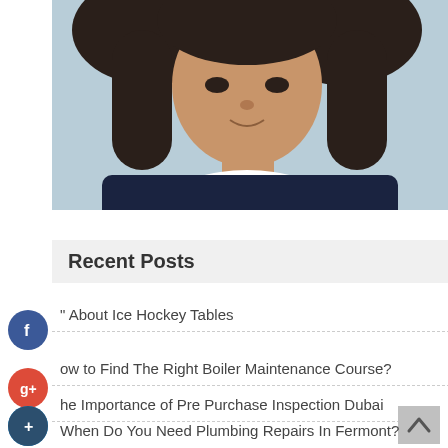[Figure (photo): Woman with dark hair wearing a white collared shirt under a dark navy sweater, photographed against a light blue-grey background. Cropped at shoulder level.]
Recent Posts
About Ice Hockey Tables
How to Find The Right Boiler Maintenance Course?
The Importance of Pre Purchase Inspection Dubai
When Do You Need Plumbing Repairs In Fermont?